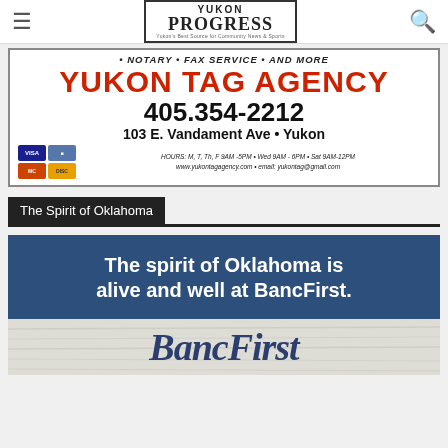Yukon Progress — Yukon's Best Source for Community News & Sports
[Figure (infographic): Yukon Tag Agency advertisement: NOTARY • FAX SERVICE • AND MORE, YUKON TAG AGENCY, 405.354-2212, 103 E. Vandament Ave • Yukon, HOURS: M, T, Th, F 9AM-5PM • Wed 9AM-6PM • Sat 9AM-12PM, www.yukontagagency.com • email: yukontag@gmail.com]
The Spirit of Oklahoma
[Figure (infographic): BancFirst advertisement: The spirit of Oklahoma is alive and well at BancFirst. BancFirst logo.]